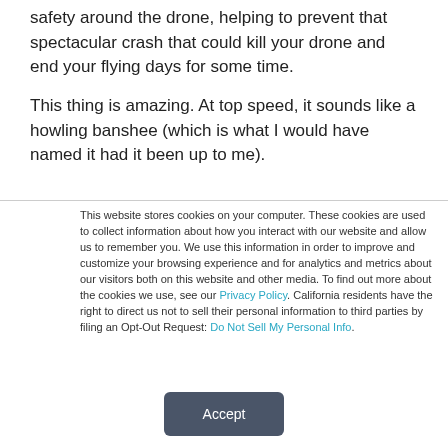safety around the drone, helping to prevent that spectacular crash that could kill your drone and end your flying days for some time.
This thing is amazing. At top speed, it sounds like a howling banshee (which is what I would have named it had it been up to me).
This website stores cookies on your computer. These cookies are used to collect information about how you interact with our website and allow us to remember you. We use this information in order to improve and customize your browsing experience and for analytics and metrics about our visitors both on this website and other media. To find out more about the cookies we use, see our Privacy Policy. California residents have the right to direct us not to sell their personal information to third parties by filing an Opt-Out Request: Do Not Sell My Personal Info.
Accept